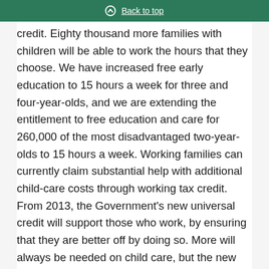Back to top
credit. Eighty thousand more families with children will be able to work the hours that they choose. We have increased free early education to 15 hours a week for three and four-year-olds, and we are extending the entitlement to free education and care for 260,000 of the most disadvantaged two-year-olds to 15 hours a week. Working families can currently claim substantial help with additional child-care costs through working tax credit. From 2013, the Government’s new universal credit will support those who work, by ensuring that they are better off by doing so. More will always be needed on child care, but the new commission is specifically tasked with dealing with the costs of child care, because that is one of the biggest inhibitors for women who want to return to work.